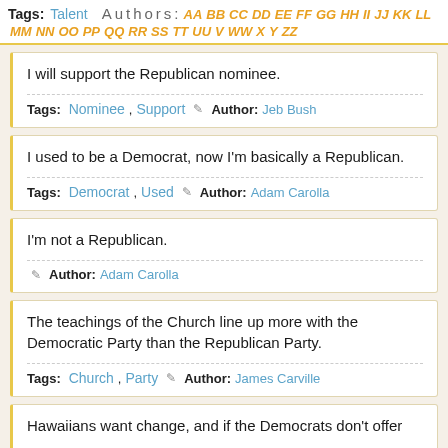Tags: Talent... Authors: AA BB CC DD EE FF GG HH II JJ KK LL MM NN OO PP QQ RR SS TT UU V WW X Y ZZ
I will support the Republican nominee.
Tags: Nominee, Support  Author: Jeb Bush
I used to be a Democrat, now I'm basically a Republican.
Tags: Democrat, Used  Author: Adam Carolla
I'm not a Republican.
Author: Adam Carolla
The teachings of the Church line up more with the Democratic Party than the Republican Party.
Tags: Church, Party  Author: James Carville
Hawaiians want change, and if the Democrats don't offer...